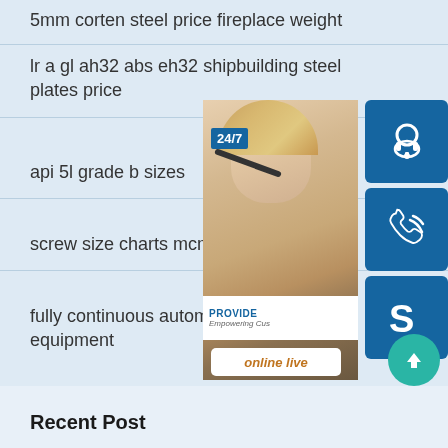5mm corten steel price fireplace weight
lr a gl ah32 abs eh32 shipbuilding steel plates price
api 5l grade b sizes
screw size charts mcmaster
fully continuous automatic pyrolysis equipment
[Figure (infographic): Customer service widget with 24/7 label, photo of woman with headset, and icons for headset, phone, and Skype, plus online live button]
[Figure (other): Teal scroll-to-top button with upward arrow]
Recent Post